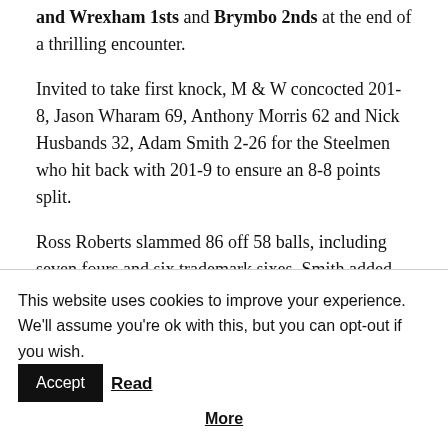and Wrexham 1sts and Brymbo 2nds at the end of a thrilling encounter.
Invited to take first knock, M & W concocted 201-8, Jason Wharam 69, Anthony Morris 62 and Nick Husbands 32, Adam Smith 2-26 for the Steelmen who hit back with 201-9 to ensure an 8-8 points split.
Ross Roberts slammed 86 off 58 balls, including seven fours and six trademark sixes, Smith added 45 and Joss Roberts 39, Wharam poaching 3-42 for the hosts.
Mynydd Isa and Maeshafn took the points 11-4
This website uses cookies to improve your experience. We'll assume you're ok with this, but you can opt-out if you wish. Accept Read More